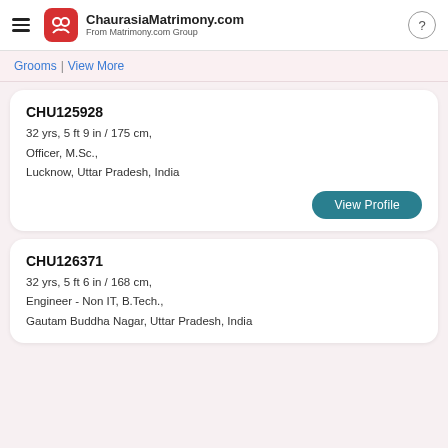ChaurasiaMatrimony.com From Matrimony.com Group
Grooms | View More
CHU125928
32 yrs, 5 ft 9 in / 175 cm,
Officer, M.Sc.,
Lucknow, Uttar Pradesh, India
View Profile
CHU126371
32 yrs, 5 ft 6 in / 168 cm,
Engineer - Non IT, B.Tech.,
Gautam Buddha Nagar, Uttar Pradesh, India